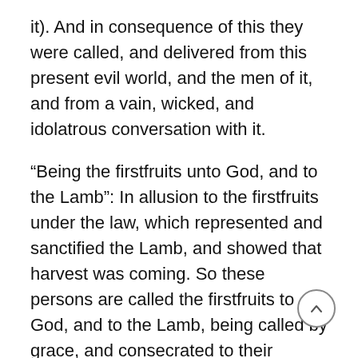it). And in consequence of this they were called, and delivered from this present evil world, and the men of it, and from a vain, wicked, and idolatrous conversation with it.
“Being the firstfruits unto God, and to the Lamb”: In allusion to the firstfruits under the law, which represented and sanctified the Lamb, and showed that harvest was coming. So these persons are called the firstfruits to God, and to the Lamb, being called by grace, and consecrated to their worship and service. Regarding the harvest of souls, or that large number of them which will be gathered in during the spiritual reign of Christ. Which these persons will be at the beginning of. And as those who are first called and converted in a country or nation are said to be the firstfruits